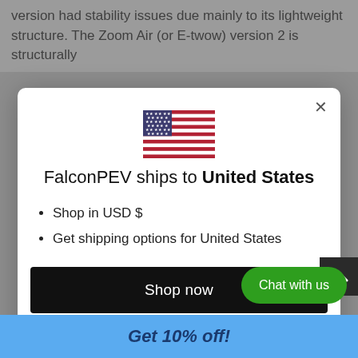version had stability issues due mainly to its lightweight structure. The Zoom Air (or E-twow) version 2 is structurally
[Figure (screenshot): Modal dialog: FalconPEV ships to United States with US flag, bullet points 'Shop in USD $' and 'Get shipping options for United States', a black 'Shop now' button, and a 'Change shipping country' link.]
Shop in USD $
Get shipping options for United States
Change shipping country
Chat with us
Get 10% off!